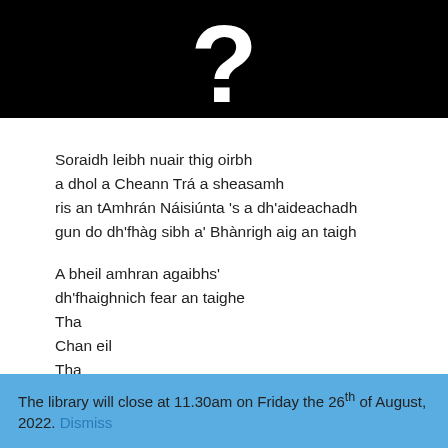[Figure (logo): Black banner with a large white question mark symbol]
Soraidh leibh nuair thig oirbh
a dhol a Cheann Trá a sheasamh
ris an tAmhrán Náisiúnta 's a dh'aideachadh
gun do dh'fhàg sibh a' Bhànrigh aig an taigh
A bheil amhran agaibhs'
dh'fhaighnich fear an taighe
Tha
Chan eil
Tha
Dè fear?
The library will close at 11.30am on Friday the 26th of August, 2022. Dismiss